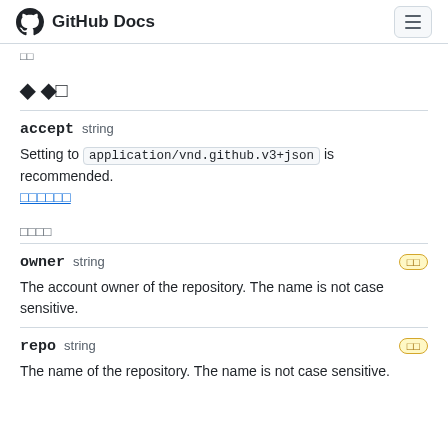GitHub Docs
□□
◆ ◆□
accept  string
Setting to application/vnd.github.v3+json is recommended.
□□□□□□
□□□□
owner  string  □□
The account owner of the repository. The name is not case sensitive.
repo  string  □□
The name of the repository. The name is not case sensitive.